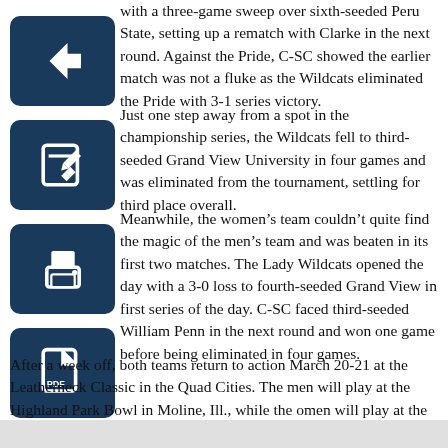with a three-game sweep over sixth-seeded Peru State, setting up a rematch with Clarke in the next round. Against the Pride, C-SC showed the earlier match was not a fluke as the Wildcats eliminated the Pride with 3-1 series victory.
Just one step away from a spot in the championship series, the Wildcats fell to third-seeded Grand View University in four games and was eliminated from the tournament, settling for third place overall.
Meanwhile, the women's team couldn't quite find the magic of the men's team and was beaten in its first two matches. The Lady Wildcats opened the day with a 3-0 loss to fourth-seeded Grand View in first series of the day. C-SC faced third-seeded William Penn in the next round and won one game before being eliminated in four games.
After a week off, both teams return to action March 20-21 at the Leatherneck Classic in the Quad Cities. The men will play at the Highland Park Bowl in Moline, Ill., while the omen will play at the Big River Bowl in Davenport, Iowa.